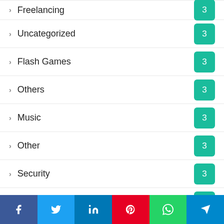Freelancing 3
Uncategorized 3
Flash Games 3
Others 3
Music 3
Other 3
Security 3
AI 2
Tech 2
Loan 2
Bike 2
Investment 2
Vlog 2